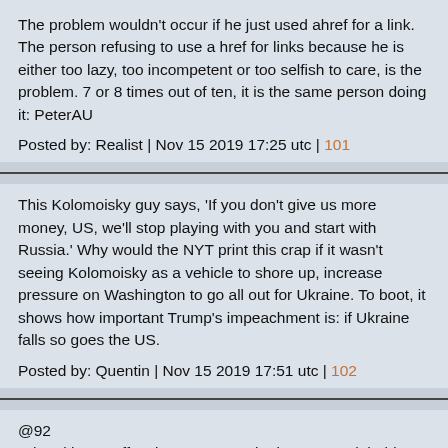The problem wouldn't occur if he just used ahref for a link. The person refusing to use a href for links because he is either too lazy, too incompetent or too selfish to care, is the problem. 7 or 8 times out of ten, it is the same person doing it: PeterAU
Posted by: Realist | Nov 15 2019 17:25 utc | 101
This Kolomoisky guy says, 'If you don't give us more money, US, we'll stop playing with you and start with Russia.' Why would the NYT print this crap if it wasn't seeing Kolomoisky as a vehicle to shore up, increase pressure on Washington to go all out for Ukraine. To boot, it shows how important Trump's impeachment is: if Ukraine falls so goes the US.
Posted by: Quentin | Nov 15 2019 17:51 utc | 102
@92
"The ultimate effect is to remove Ukraine's stranglehold position over Russian gas exports, which in turn severely undercuts Ukraine's ability to both get really cheap Russian gas and additional transit fees - a major blow to their economy. "

This is correct, as anyone who understands the history of Russia-Gazprom-Ukraine knows. It also throws a wrench